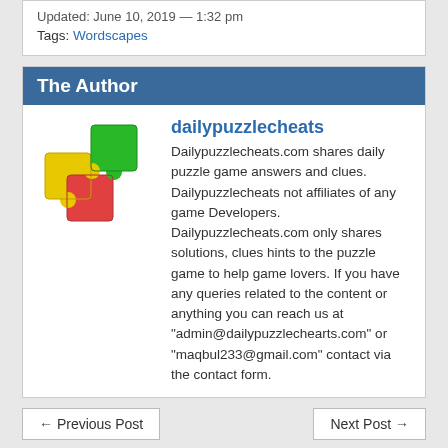Updated: June 10, 2019 — 1:32 pm
Tags: Wordscapes
The Author
[Figure (logo): Colorful puzzle pieces logo for dailypuzzlecheats]
dailypuzzlecheats
Dailypuzzlecheats.com shares daily puzzle game answers and clues. Dailypuzzlecheats not affiliates of any game Developers. Dailypuzzlecheats.com only shares solutions, clues hints to the puzzle game to help game lovers. If you have any queries related to the content or anything you can reach us at "admin@dailypuzzlechearts.com" or "maqbul233@gmail.com" contact via the contact form.
← Previous Post
Next Post →
Leave a Reply
Enter your comment here...